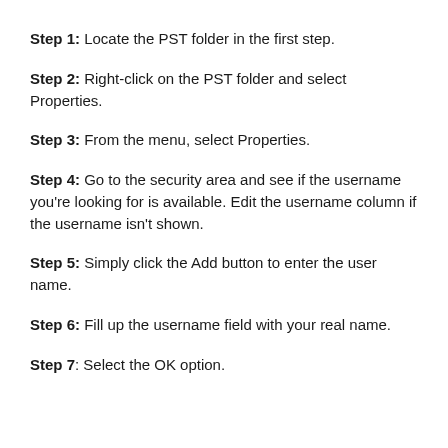Step 1: Locate the PST folder in the first step.
Step 2: Right-click on the PST folder and select Properties.
Step 3: From the menu, select Properties.
Step 4: Go to the security area and see if the username you're looking for is available. Edit the username column if the username isn't shown.
Step 5: Simply click the Add button to enter the user name.
Step 6: Fill up the username field with your real name.
Step 7: Select the OK option.